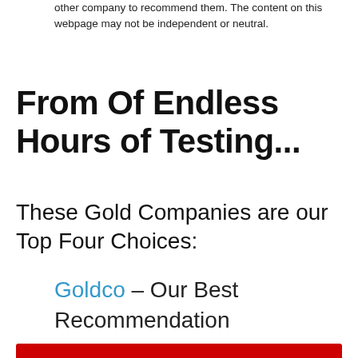other company to recommend them. The content on this webpage may not be independent or neutral.
From Of Endless Hours of Testing...
These Gold Companies are our Top Four Choices:
Goldco – Our Best Recommendation
[Figure (logo): Goldco logo with golden flame/leaf graphic above the text GOLDCO in large serif letters with a registered trademark symbol]